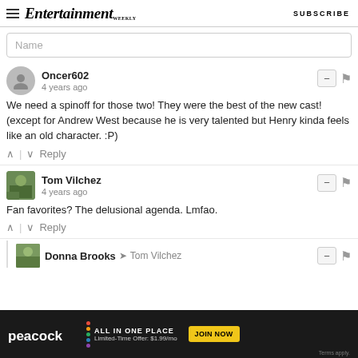Entertainment Weekly — SUBSCRIBE
Name
Oncer602
4 years ago
We need a spinoff for those two! They were the best of the new cast! (except for Andrew West because he is very talented but Henry kinda feels like an old character. :P)
Tom Vilchez
4 years ago
Fan favorites? The delusional agenda. Lmfao.
Donna Brooks → Tom Vilchez
[Figure (screenshot): Peacock advertisement banner: ALL IN ONE PLACE, Limited-Time Offer: $1.99/mo, JOIN NOW button, Terms apply.]